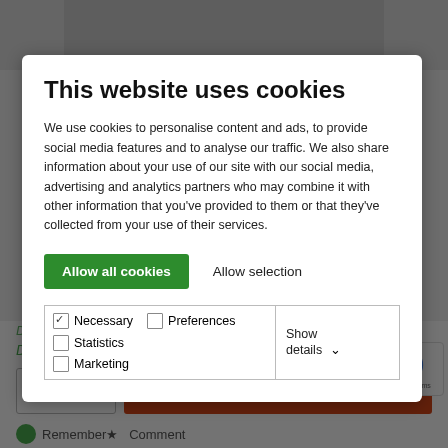This website uses cookies
We use cookies to personalise content and ads, to provide social media features and to analyse our traffic. We also share information about your use of our site with our social media, advertising and analytics partners who may combine it with other information that you've provided to them or that they've collected from your use of their services.
Allow all cookies | Allow selection
| Necessary | Preferences | Statistics | Show details |
| --- | --- | --- | --- |
| ☑ Necessary | ☐ Preferences | ☐ Statistics | Show details ∨ |
| ☐ Marketing |  |  |  |
Delivery time EU appr. 4-14 workdays.
Delivery time World appr. 6-30 workdays.
1  ∨   Add to shopping cart
Remember ★ Comment